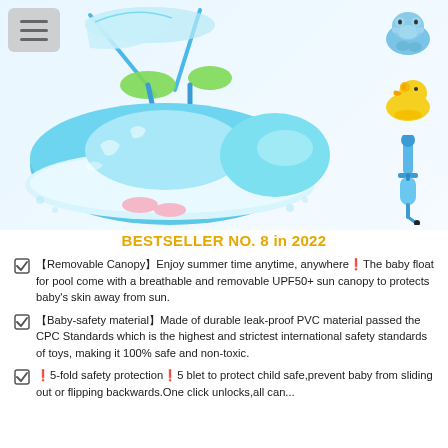[Figure (photo): Baby pool float with removable canopy, blue and green whale-shaped inflatable float with harness straps and sun shade canopy. Dolphin print on the float. To the right: small blue hippo toy, yellow rubber duck toy, and blue hand pump.]
BESTSELLER NO. 8 in 2022
【Removable Canopy】Enjoy summer time anytime, anywhere🔯The baby float for pool come with a breathable and removable UPF50+ sun canopy to protects baby's skin away from sun.
【Baby-safety material】Made of durable leak-proof PVC material passed the CPC Standards which is the highest and strictest international safety standards of toys, making it 100% safe and non-toxic.
🔯5-fold safety protection🔯5 blet to protect child safe,prevent baby from sliding out or flipping backwards.One click unlocks,all can...